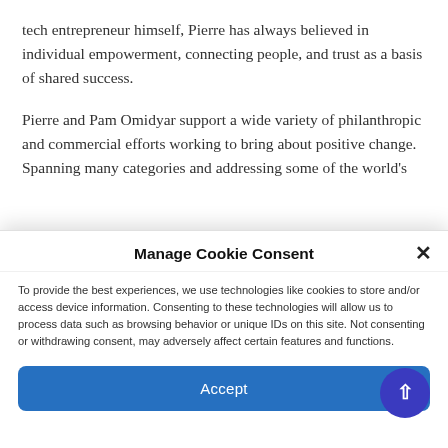tech entrepreneur himself, Pierre has always believed in individual empowerment, connecting people, and trust as a basis of shared success.
Pierre and Pam Omidyar support a wide variety of philanthropic and commercial efforts working to bring about positive change. Spanning many categories and addressing some of the world's
Manage Cookie Consent
To provide the best experiences, we use technologies like cookies to store and/or access device information. Consenting to these technologies will allow us to process data such as browsing behavior or unique IDs on this site. Not consenting or withdrawing consent, may adversely affect certain features and functions.
Accept